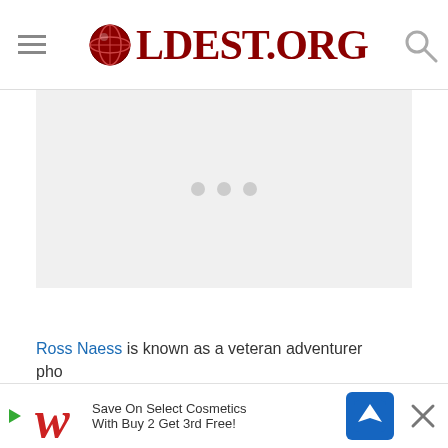OLDEST.ORG
[Figure (other): Loading placeholder area with three grey dots indicating content loading]
Ross Naess is known as a veteran adventurer
[Figure (other): Walgreens advertisement banner: Save On Select Cosmetics With Buy 2 Get 3rd Free!]